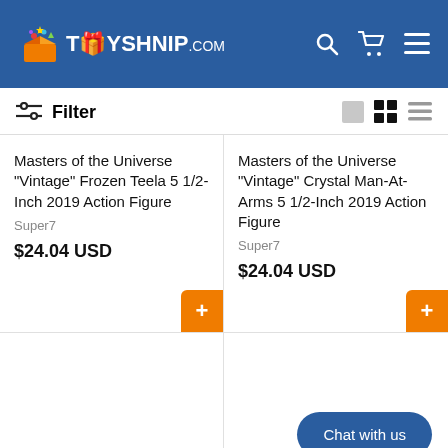[Figure (logo): TOYSHNIP.com logo with colorful toy box icon on blue header background]
Filter
Masters of the Universe "Vintage" Frozen Teela 5 1/2-Inch 2019 Action Figure
Super7
$24.04 USD
Masters of the Universe "Vintage" Crystal Man-At-Arms 5 1/2-Inch 2019 Action Figure
Super7
$24.04 USD
Chat with us